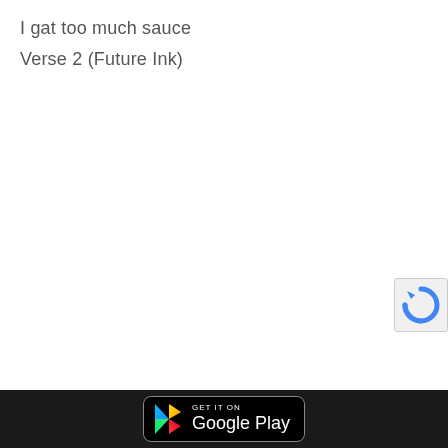I gat too much sauce
Verse 2 (Future Ink)
[Figure (logo): Google Play Store badge with play button triangle icon and text 'GET IT ON Google Play' on black background with rounded rectangle border]
[Figure (logo): reCAPTCHA logo icon partially visible in bottom-right corner]